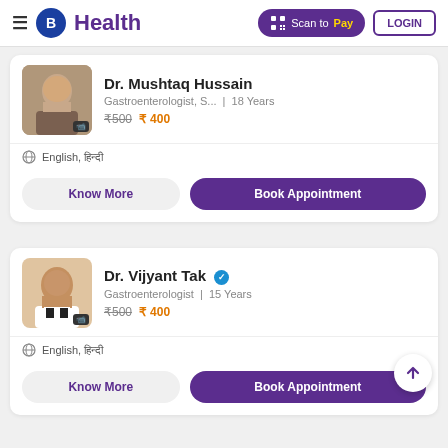B Health | Scan to Pay | LOGIN
Dr. Mushtaq Hussain
Gastroenterologist, S... | 18 Years
₹500 ₹400
English, हिन्दी
Know More | Book Appointment
Dr. Vijyant Tak ✓
Gastroenterologist | 15 Years
₹500 ₹400
English, हिन्दी
Know More | Book Appointment